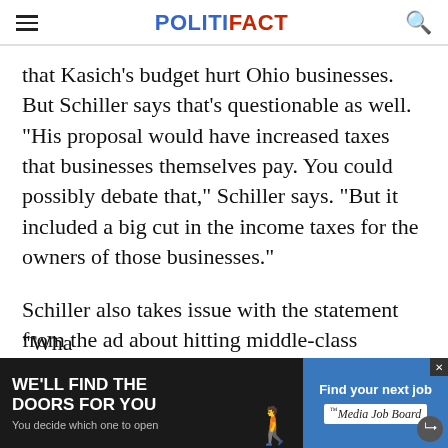POLITIFACT
that Kasich's budget hurt Ohio businesses. But Schiller says that's questionable as well. "His proposal would have increased taxes that businesses themselves pay. You could possibly debate that," Schiller says. "But it included a big cut in the income taxes for the owners of those businesses."
Schiller also takes issue with the statement from the ad about hitting middle-class Ohioans "even harder."
"Wha
[Figure (other): Advertisement banner: 'WE'LL FIND THE DOORS FOR YOU - You decide which one to open' on dark background, and 'Find your next job - Media Job Board' on blue background]